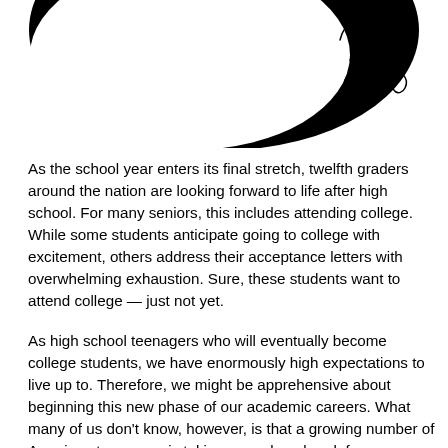[Figure (illustration): Partial view of a circular black logo or emblem with a handwritten signature/initials in the upper right area]
As the school year enters its final stretch, twelfth graders around the nation are looking forward to life after high school. For many seniors, this includes attending college. While some students anticipate going to college with excitement, others address their acceptance letters with overwhelming exhaustion. Sure, these students want to attend college — just not yet.
As high school teenagers who will eventually become college students, we have enormously high expectations to live up to. Therefore, we might be apprehensive about beginning this new phase of our academic careers. What many of us don't know, however, is that a growing number of American teenagers is taking a yearlong break from textbooks, homework, and exams in what is known as a "gap year." Instead of beginning college immediately after high school, these students take a year off to pursue other interests on their own. Possibilities include swimming with dolphins in Greece, volunteering at an AIDS awareness center in South Africa, jetting off to London as a fashion intern, or exploring Europe's rich history and fascinating culture for either